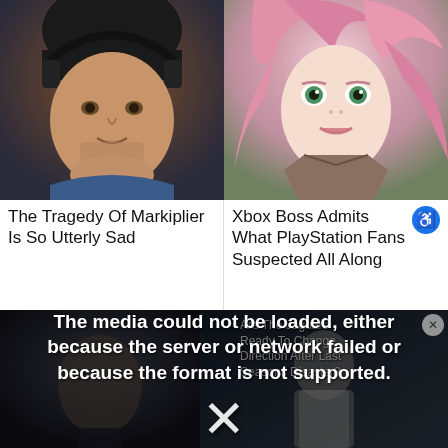[Figure (photo): Close-up photo of a man wearing a black beanie and headphones, looking at camera with stubble beard, blue jacket visible]
The Tragedy Of Markiplier Is So Utterly Sad
[Figure (photo): Anime-style character with pink hair and green eyes, wearing armor, looking upward]
Xbox Boss Admits What PlayStation Fans Suspected All Along
[Figure (screenshot): Video player error overlay showing media could not be loaded message, with background footage of person and gaming character, overlapping article text about Jaguars]
The media could not be loaded, either because the server or network failed or because the format is not supported.
Are The Jaguars Ready To Change Direction After Last Seasons Disaster?